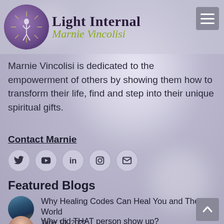[Figure (logo): Light Internal Marnie Vincolisi logo with circular purple/gold emblem and text]
Marnie Vincolisi is dedicated to the empowerment of others by showing them how to transform their life, find and step into their unique spiritual gifts.
Contact Marnie
[Figure (infographic): Social media icons: Twitter, YouTube, LinkedIn, Instagram, Email]
Featured Blogs
[Figure (photo): Circular thumbnail photo for blog post about Healing Codes]
Why Healing Codes Can Heal You and The World
June 10, 2022
[Figure (photo): Circular thumbnail photo for second blog post]
Why did THAT person show up?